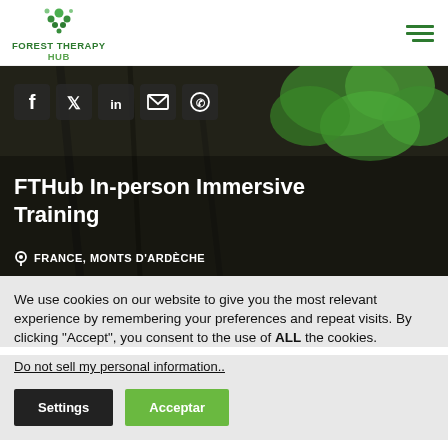FOREST THERAPY HUB
[Figure (illustration): Hero banner with green leaves on dark tree bark background, social sharing icons, title 'FTHub In-person Immersive Training', location 'FRANCE, MONTS D'ARDÈCHE']
We use cookies on our website to give you the most relevant experience by remembering your preferences and repeat visits. By clicking "Accept", you consent to the use of ALL the cookies.
Do not sell my personal information..
Settings   Acceptar